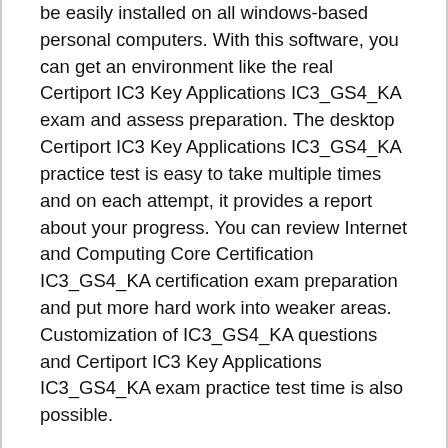be easily installed on all windows-based personal computers. With this software, you can get an environment like the real Certiport IC3 Key Applications IC3_GS4_KA exam and assess preparation. The desktop Certiport IC3 Key Applications IC3_GS4_KA practice test is easy to take multiple times and on each attempt, it provides a report about your progress. You can review Internet and Computing Core Certification IC3_GS4_KA certification exam preparation and put more hard work into weaker areas. Customization of IC3_GS4_KA questions and Certiport IC3 Key Applications IC3_GS4_KA exam practice test time is also possible.
Professionals recommend that every candidate of the Internet and Computing Core Certification IC3_GS4_KA certification exam should take the Braindumps2Go IC3 IC3_GS4_KA practice test to overcome their exam anxiety and confusions about